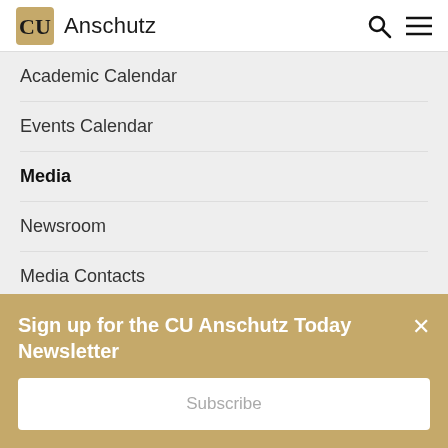CU Anschutz
Academic Calendar
Events Calendar
Media
Newsroom
Media Contacts
Filming Requests
RSS Feed
This is Breakthrough
Sign up for the CU Anschutz Today Newsletter
Subscribe